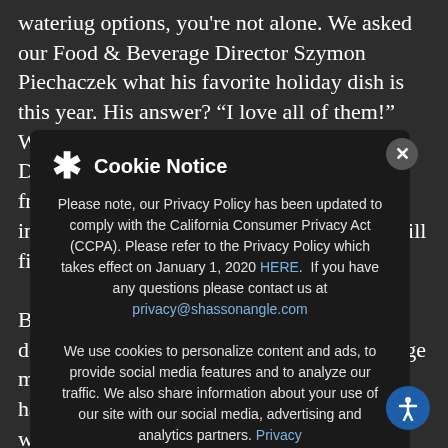wateriug options, you're not alone. We asked our Food & Beverage Director Szymon Piechaczek what his favorite holiday dish is this year. His answer? "I love all of them!" What will you choose, if even our star F&B Director loves them all? Do people get coal from santa when they give others an impossible dilemma? We guess Chef Luis will find out. But the decision-making gets easier for dessert: Chocolate Buche de Noel with orange meringue, cranbe... other o... type, we hav... Bottomless bubbles available. Now we're back on the "nice" list, right? After dinner, we recommend walking around our property. We have lights strung up to en... Christmas tree. And we have the Christmas trees to remind you that, in fact, we're a hotel – that's simply well-decorated. If you're properly letting the holiday...
[Figure (screenshot): Cookie notice modal overlay on top of article text. Header shows asterisk icon and bold 'Cookie Notice' title. Body text reads: 'Please note, our Privacy Policy has been updated to comply with the California Consumer Privacy Act (CCPA). Please refer to the Privacy Policy which takes effect on January 1, 2020 HERE. If you have any questions please contact us at privacy@shassonangle.com'. Second paragraph: 'We use cookies to personalize content and ads, to provide social media features and to analyze our traffic. We also share information about your use of our site with our social media, advertising and analytics partners. Privacy'. Two buttons: 'Accept Cookies' and 'Cookie Settings'. Close X button top right. Accessibility icon bottom right.]